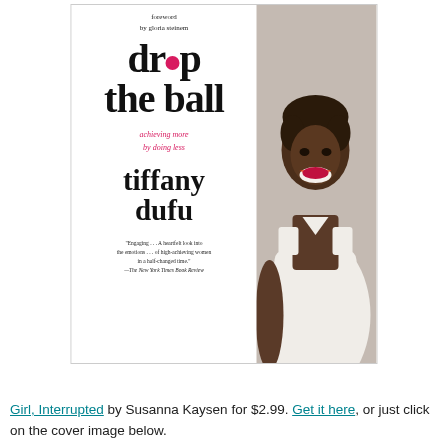[Figure (illustration): Book cover of 'Drop the Ball' by Tiffany Dufu. The cover features the book title in large serif font with a pink dot replacing the 'o' in 'drop', subtitle 'achieving more by doing less' in pink italic, author name 'tiffany dufu' in large serif, foreword note 'foreword by gloria steinem', a quote from The New York Times Book Review, and a photo of a smiling Black woman in a white dress on the right side.]
Girl, Interrupted by Susanna Kaysen for $2.99. Get it here, or just click on the cover image below.